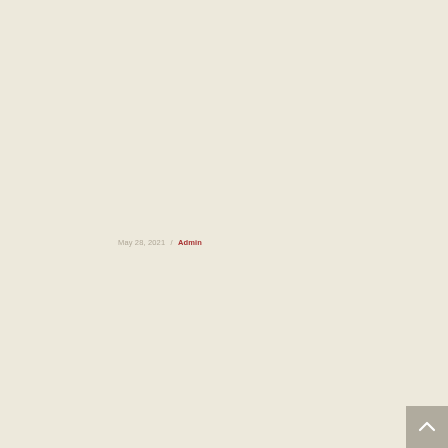May 28, 2021  /  Admin
[Figure (other): Back to top button with upward chevron arrow, grey background, bottom-right corner]